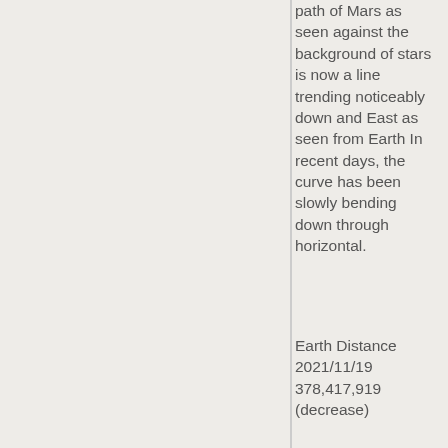path of Mars as seen against the background of stars is now a line trending noticeably down and East as seen from Earth In recent days, the curve has been slowly bending down through horizontal.
Earth Distance 2021/11/19 378,417,919 (decrease)